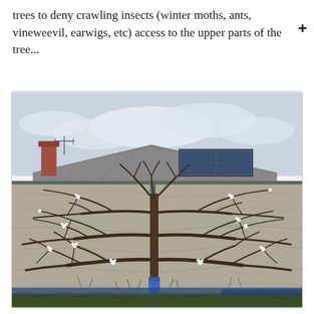trees to deny crawling insects (winter moths, ants, vineweevil, earwigs, etc) access to the upper parts of the tree...
[Figure (photo): A fan-trained or espalier tree growing against a concrete/stone wall. The tree has bare branches with some early spring white blossoms and a blue grease band or tape wrapped around the trunk near the base. The background shows a rooftop with tiles and a solar panel, and a cloudy sky. At the base there is mulch and a low blue border.]